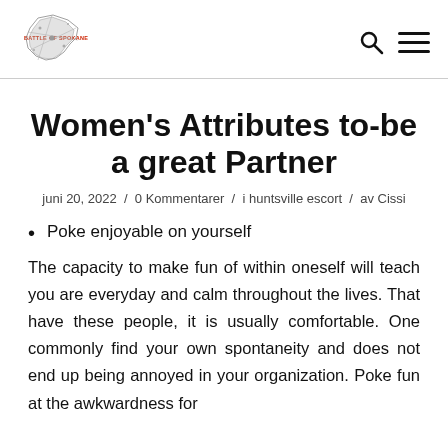Battle of Spokane logo with search and menu icons
Women's Attributes to-be a great Partner
juni 20, 2022 / 0 Kommentarer / i huntsville escort / av Cissi
Poke enjoyable on yourself
The capacity to make fun of within oneself will teach you are everyday and calm throughout the lives. That have these people, it is usually comfortable. One commonly find your own spontaneity and does not end up being annoyed in your organization. Poke fun at the awkwardness for